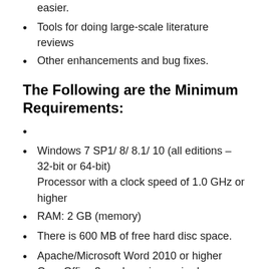easier.
Tools for doing large-scale literature reviews
Other enhancements and bug fixes.
The Following are the Minimum Requirements:
Windows 7 SP1/ 8/ 8.1/ 10 (all editions – 32-bit or 64-bit)
Processor with a clock speed of 1.0 GHz or higher
RAM: 2 GB (memory)
There is 600 MB of free hard disc space.
Apache/Microsoft Word 2010 or higher OpenOffice 3 or above is required.